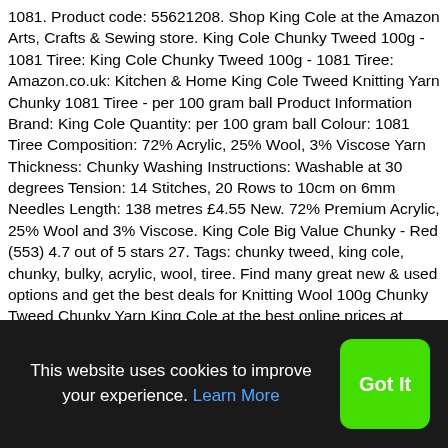1081. Product code: 55621208. Shop King Cole at the Amazon Arts, Crafts & Sewing store. King Cole Chunky Tweed 100g - 1081 Tiree: King Cole Chunky Tweed 100g - 1081 Tiree: Amazon.co.uk: Kitchen & Home King Cole Tweed Knitting Yarn Chunky 1081 Tiree - per 100 gram ball Product Information Brand: King Cole Quantity: per 100 gram ball Colour: 1081 Tiree Composition: 72% Acrylic, 25% Wool, 3% Viscose Yarn Thickness: Chunky Washing Instructions: Washable at 30 degrees Tension: 14 Stitches, 20 Rows to 10cm on 6mm Needles Length: 138 metres £4.55 New. 72% Premium Acrylic, 25% Wool and 3% Viscose. King Cole Big Value Chunky - Red (553) 4.7 out of 5 stars 27. Tags: chunky tweed, king cole, chunky, bulky, acrylic, wool, tiree. Find many great new & used options and get the best deals for Knitting Wool 100g Chunky Tweed Chunky Yarn King Cole at the best online prices at eBay! Composition: 72% Premium … Knits up on 6.00mm needles. King Cole King Cole Chunky Tweed Tiree £7.99
This website uses cookies to improve your experience. Learn More